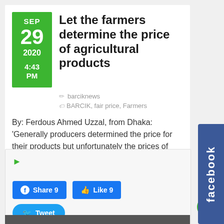Let the farmers determine the price of agricultural products
barciknews
BARCIK, fair price, Farmers
By: Ferdous Ahmed Uzzal, from Dhaka: 'Generally producers determined the price for their products but unfortunately the prices of agricultural products are
Continue Reading...
Share 9
Like 9
Tweet